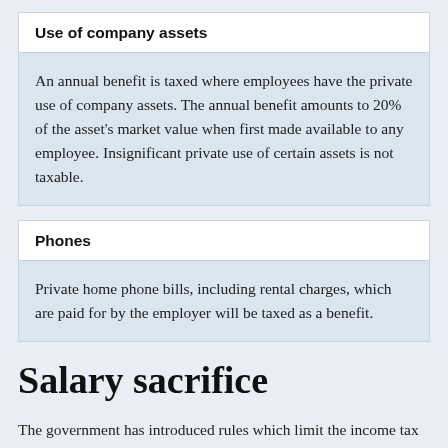Use of company assets
An annual benefit is taxed where employees have the private use of company assets. The annual benefit amounts to 20% of the asset's market value when first made available to any employee. Insignificant private use of certain assets is not taxable.
Phones
Private home phone bills, including rental charges, which are paid for by the employer will be taxed as a benefit.
Salary sacrifice
The government has introduced rules which limit the income tax and employer NICs advantages where: